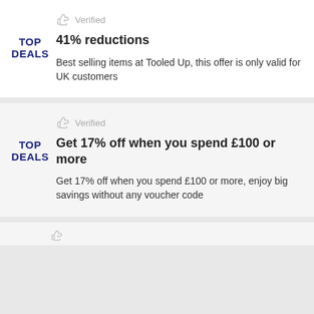Verified
41% reductions
Best selling items at Tooled Up, this offer is only valid for UK customers
Verified
Get 17% off when you spend £100 or more
Get 17% off when you spend £100 or more, enjoy big savings without any voucher code